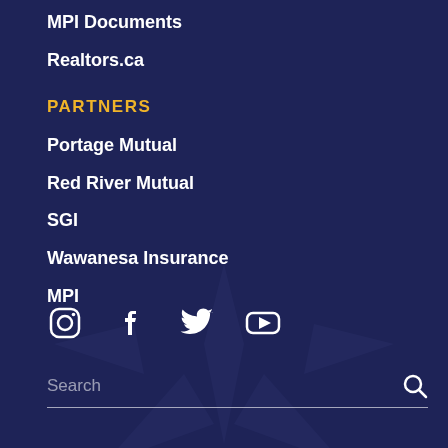MPI Documents
Realtors.ca
PARTNERS
Portage Mutual
Red River Mutual
SGI
Wawanesa Insurance
MPI
[Figure (other): Social media icons: Instagram, Facebook, Twitter, YouTube]
[Figure (illustration): Faint watermark logo of a stylized flower/star shape in dark blue]
Search